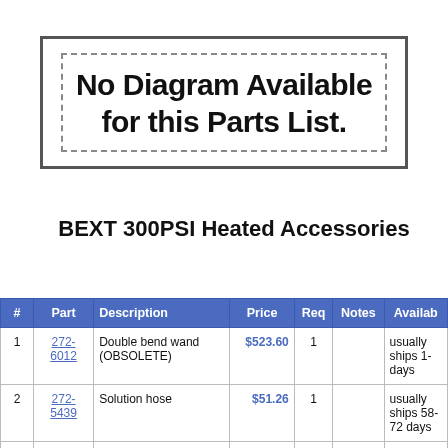[Figure (other): Box with text 'No Diagram Available for this Parts List.']
BEXT 300PSI Heated Accessories
| # | Part | Description | Price | Req | Notes | Availab |
| --- | --- | --- | --- | --- | --- | --- |
| 1 | 272-6012 | Double bend wand (OBSOLETE) | $523.60 | 1 |  | usually ships 1- days |
| 2 | 272-5439 | Solution hose | $51.26 | 1 |  | usually ships 58- 72 days |
| 3 |  |  | $... |  |  | usually |